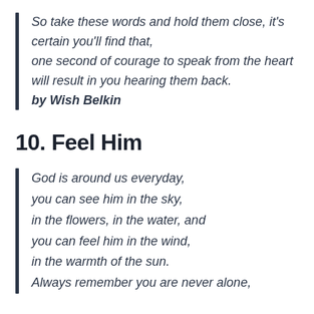So take these words and hold them close, it's certain you'll find that, one second of courage to speak from the heart will result in you hearing them back.
by Wish Belkin
10. Feel Him
God is around us everyday, you can see him in the sky, in the flowers, in the water, and you can feel him in the wind, in the warmth of the sun. Always remember you are never alone,